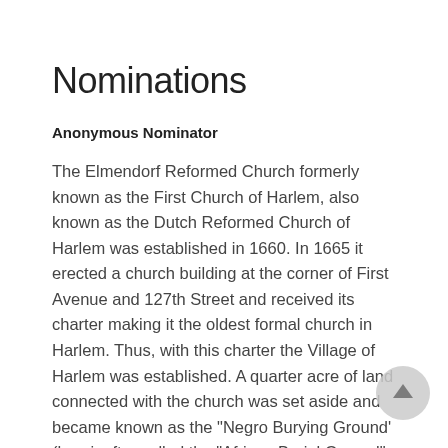Nominations
Anonymous Nominator
The Elmendorf Reformed Church formerly known as the First Church of Harlem, also known as the Dutch Reformed Church of Harlem was established in 1660. In 1665 it erected a church building at the corner of First Avenue and 127th Street and received its charter making it the oldest formal church in Harlem. Thus, with this charter the Village of Harlem was established. A quarter acre of land connected with the church was set aside and became known as the "Negro Burying Ground' (hereinafter called the "African Burial Ground". A major fire took place during the